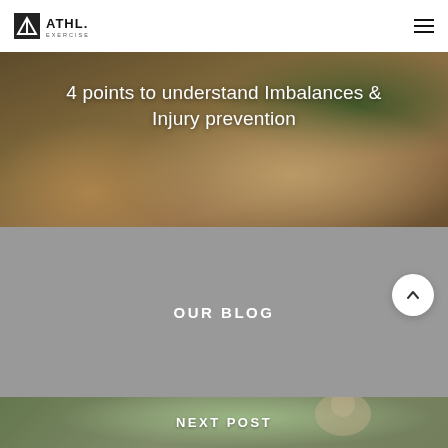ATHL. EXERCISE
[Figure (photo): Woman exercising in a gym, lying on exercise equipment, hero banner image with dark overlay]
4 points to understand Imbalances & Injury prevention
[Figure (photo): Gray background section with OUR BLOG text centered]
OUR BLOG
[Figure (photo): Woman touching her neck/shoulder in pain, outdoors, green bokeh background, NEXT POST section]
NEXT POST